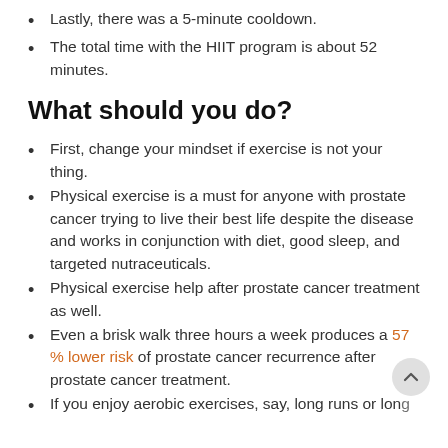Lastly, there was a 5-minute cooldown.
The total time with the HIIT program is about 52 minutes.
What should you do?
First, change your mindset if exercise is not your thing.
Physical exercise is a must for anyone with prostate cancer trying to live their best life despite the disease and works in conjunction with diet, good sleep, and targeted nutraceuticals.
Physical exercise help after prostate cancer treatment as well.
Even a brisk walk three hours a week produces a 57 % lower risk of prostate cancer recurrence after prostate cancer treatment.
If you enjoy aerobic exercises, say, long runs or long walks, you're in luck. Results have also shown that...